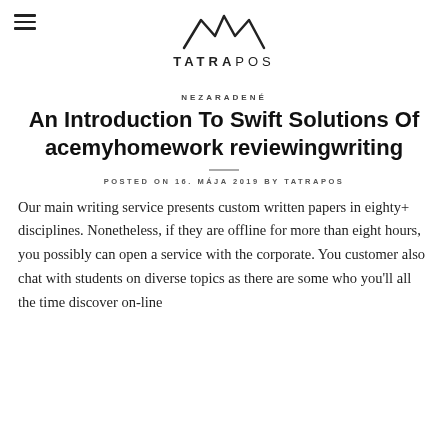[Figure (logo): TatraPos logo with mountain peaks SVG above the text TATRAPOS]
NEZARADENÉ
An Introduction To Swift Solutions Of acemyhomework reviewingwriting
POSTED ON 16. MÁJA 2019 BY TATRAPOS
Our main writing service presents custom written papers in eighty+ disciplines. Nonetheless, if they are offline for more than eight hours, you possibly can open a service with the corporate. You customer also chat with students on diverse topics as there are some who you'll all the time discover on-line